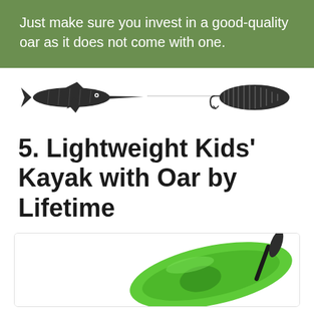Just make sure you invest in a good-quality oar as it does not come with one.
[Figure (illustration): Decorative fishing divider with a swordfish on the left and a fishing lure on the right connected by a thin line]
5. Lightweight Kids' Kayak with Oar by Lifetime
[Figure (photo): Bright green kids kayak with a paddle, partially visible, on a white background]